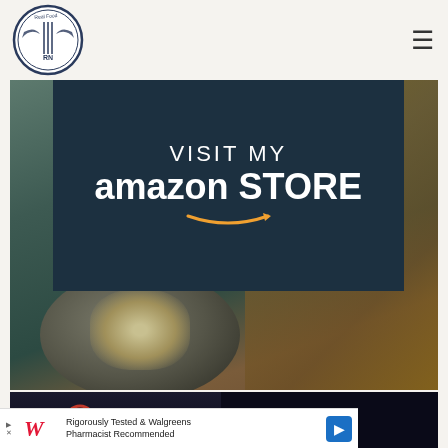Real Food RN - navigation header with logo and hamburger menu
[Figure (photo): Amazon Store promotional banner over a photo of a mortar and pestle with spices. Dark overlay reads 'VISIT MY amazon STORE' with Amazon smile logo.]
[Figure (advertisement): Integrative Nutrition advertisement banner with spiral logo on dark background.]
[Figure (advertisement): Walgreens advertisement: Rigorously Tested & Walgreens Pharmacist Recommended]